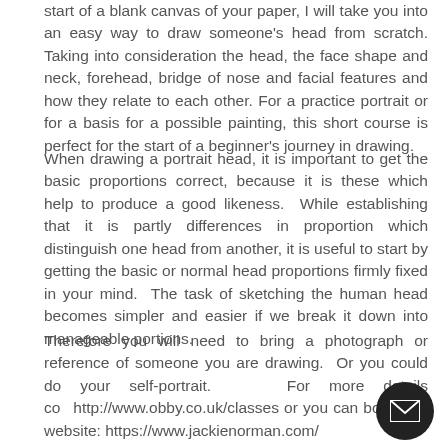start of a blank canvas of your paper, I will take you into an easy way to draw someone's head from scratch. Taking into consideration the head, the face shape and neck, forehead, bridge of nose and facial features and how they relate to each other. For a practice portrait or for a basis for a possible painting, this short course is perfect for the start of a beginner's journey in drawing.
When drawing a portrait head, it is important to get the basic proportions correct, because it is these which help to produce a good likeness.  While establishing that it is partly differences in proportion which distinguish one head from another, it is useful to start by getting the basic or normal head proportions firmly fixed in your mind.  The task of sketching the human head becomes simpler and easier if we break it down into manageable portions.
Therefore you will need to bring a photograph or reference of someone you are drawing.  Or you could do your self-portrait.  For more details see http://www.obby.co.uk/classes or you can book on my website: https://www.jackienorman.com/